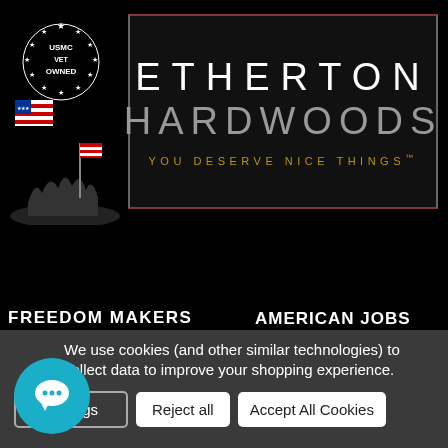[Figure (logo): Etherton Hardwoods logo with red and gray border on dark background. Text: ETHERTON HARDWOODS, YOU DESERVE NICE THINGS]
[Figure (illustration): USMC Vet Owned badge with stars circle and Iwo Jima flag-raising silhouette with American flag]
FREEDOM MAKERS
AMERICAN JOBS MATTER!
WOODEN AMERICAN FLAGS
[Figure (other): Back to top arrow button, gray square with white chevron up arrow]
We use cookies (and other similar technologies) to collect data to improve your shopping experience.
Settings | Reject all | Accept All Cookies